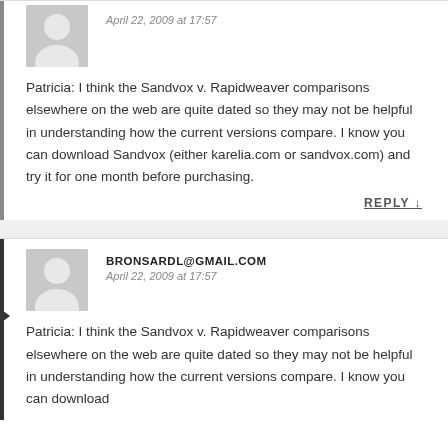April 22, 2009 at 17:57
Patricia: I think the Sandvox v. Rapidweaver comparisons elsewhere on the web are quite dated so they may not be helpful in understanding how the current versions compare. I know you can download Sandvox (either karelia.com or sandvox.com) and try it for one month before purchasing.
REPLY ↓
BRONSARDL@GMAIL.COM
April 22, 2009 at 17:57
Patricia: I think the Sandvox v. Rapidweaver comparisons elsewhere on the web are quite dated so they may not be helpful in understanding how the current versions compare. I know you can download